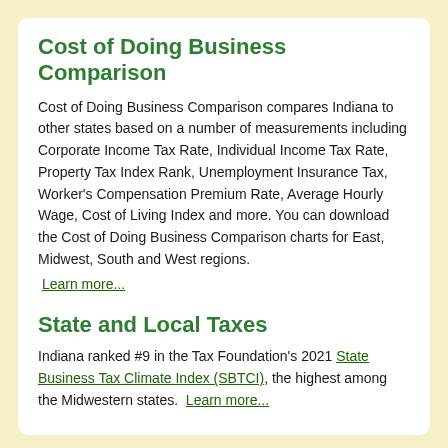Cost of Doing Business Comparison
Cost of Doing Business Comparison compares Indiana to other states based on a number of measurements including Corporate Income Tax Rate, Individual Income Tax Rate, Property Tax Index Rank, Unemployment Insurance Tax, Worker's Compensation Premium Rate, Average Hourly Wage, Cost of Living Index and more.  You can download the Cost of Doing Business Comparison charts for East, Midwest, South and West regions.
Learn more...
State and Local Taxes
Indiana ranked #9 in the Tax Foundation's 2021 State Business Tax Climate Index (SBTCI), the highest among the Midwestern states.  Learn more...
Workforce Data
Logistics
Utilities
Select Language ▼